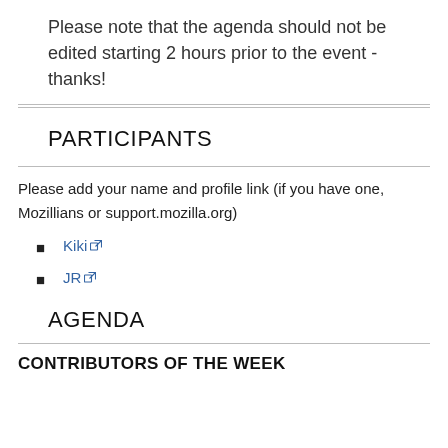Please note that the agenda should not be edited starting 2 hours prior to the event - thanks!
PARTICIPANTS
Please add your name and profile link (if you have one, Mozillians or support.mozilla.org)
Kiki
JR
AGENDA
CONTRIBUTORS OF THE WEEK